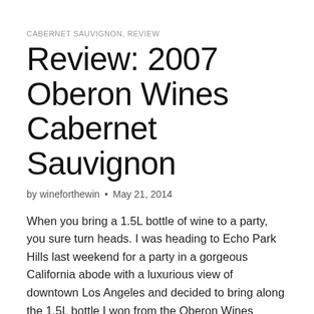CABERNET SAUVIGNON, REVIEW
Review: 2007 Oberon Wines Cabernet Sauvignon
by wineforthewin • May 21, 2014
When you bring a 1.5L bottle of wine to a party, you sure turn heads. I was heading to Echo Park Hills last weekend for a party in a gorgeous California abode with a luxurious view of downtown Los Angeles and decided to bring along the 1.5L bottle I won from the Oberon Wines video…
Read more →